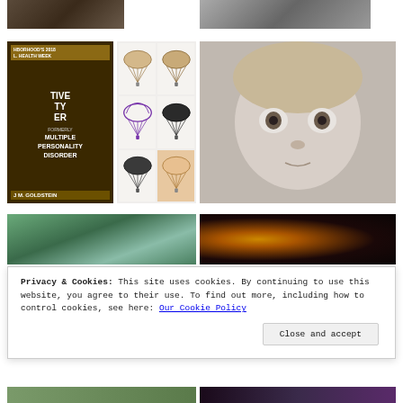[Figure (photo): Partial view of a dark brown animal or natural texture image at the top left]
[Figure (photo): Partial black and white landscape photo with palm trees at top right]
[Figure (photo): Book cover showing text: neighborhood's 2018 Mental Health Week, Dissociative Identity Disorder formerly Multiple Personality Disorder, J.M. Goldstein]
[Figure (illustration): Grid of parachute illustrations: beige parachutes (top row), purple/violet parachute (middle left), dark parachutes (bottom row)]
[Figure (illustration): Pencil sketch or black and white photo of a young child's face with blonde hair and large eyes]
[Figure (photo): Teal-tinted photo of a forest scene with figures among trees]
[Figure (photo): Dark photo with orange glowing circles resembling eyes in the dark]
Privacy & Cookies: This site uses cookies. By continuing to use this website, you agree to their use. To find out more, including how to control cookies, see here: Our Cookie Policy
[Figure (photo): Partial forest/nature image at bottom left]
[Figure (photo): Partial dark colorful image at bottom right]